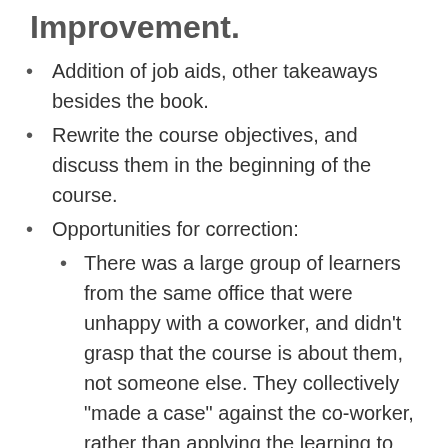Improvement.
Addition of job aids, other takeaways besides the book.
Rewrite the course objectives, and discuss them in the beginning of the course.
Opportunities for correction:
There was a large group of learners from the same office that were unhappy with a coworker, and didn't grasp that the course is about them, not someone else. They collectively "made a case" against the co-worker, rather than applying the learning to their own actions/behaviors.
One student was allowed to use both a